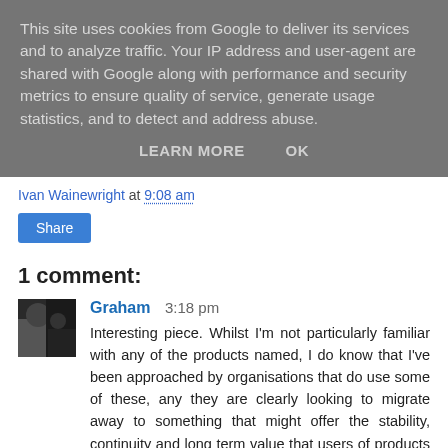This site uses cookies from Google to deliver its services and to analyze traffic. Your IP address and user-agent are shared with Google along with performance and security metrics to ensure quality of service, generate usage statistics, and to detect and address abuse.
LEARN MORE    OK
Ivan Wainewright at 9:08 am
Share
1 comment:
Graham  3:18 pm
Interesting piece. Whilst I'm not particularly familiar with any of the products named, I do know that I've been approached by organisations that do use some of these, any they are clearly looking to migrate away to something that might offer the stability, continuity and long term value that users of products like these cherish so highly (or at